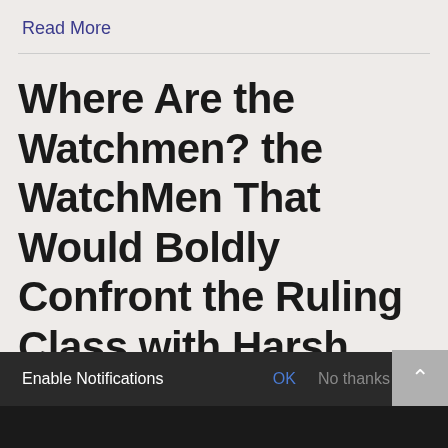Read More
Where Are the Watchmen? the WatchMen That Would Boldly Confront the Ruling Class with Harsh Truths Whenever Prophet is Used in This Article it Actually Should hmen
Enable Notifications  OK  No thanks